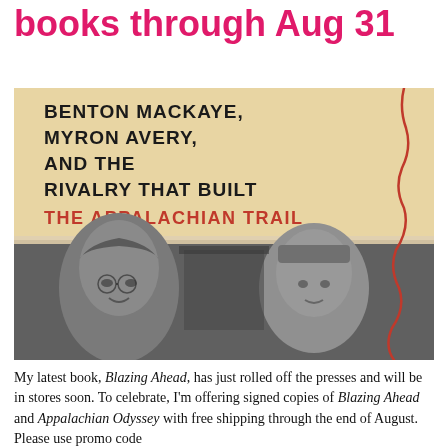books through Aug 31
[Figure (photo): Book cover of 'Blazing Ahead' featuring text: BENTON MACKAYE, MYRON AVERY, AND THE RIVALRY THAT BUILT THE APPALACHIAN TRAIL, with a red trail line on the right side and black-and-white photos of two men in the lower half.]
My latest book, Blazing Ahead, has just rolled off the presses and will be in stores soon. To celebrate, I'm offering signed copies of Blazing Ahead and Appalachian Odyssey with free shipping through the end of August. Please use promo code